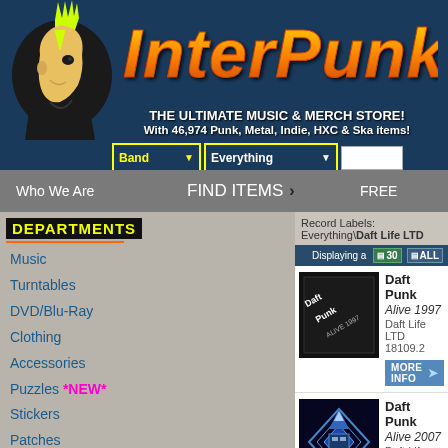[Figure (logo): Interpunk website header with punk mohawk logo illustration and INTERPUNK text in orange flame style, dark blue background]
INTERPUNK
THE ULTIMATE MUSIC & MERCH STORE!
With 46,974 Punk, Metal, Indie, HXC & Ska items!
Who We Are | FIND ITEMS | FREE
Record Labels: Everything\Daft Life LTD
Displaying a ... 30 ALL
Music
Turntables
DVD/Blu-Ray
Clothing
Accessories
Puzzles *NEW*
Stickers
Patches
Pins
Key Chains
Posters
Books
[Figure (photo): Album cover for Daft Punk - Alive 1997, black and white with text]
Daft Punk
Alive 1997
Daft Life LTD 18109.2
[Figure (photo): Album cover for Daft Punk - Alive 2007, blue geometric diamond design]
Daft Punk
Alive 2007
Daft Life LTD 11933.2
[Figure (photo): Album cover for Daft Punk - Daft Club, red/dark image partially visible]
Daft Punk
Daft Club